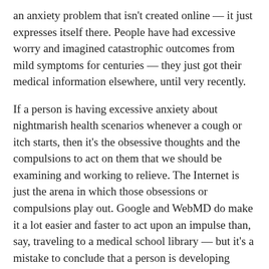an anxiety problem that isn't created online — it just expresses itself there. People have had excessive worry and imagined catastrophic outcomes from mild symptoms for centuries — they just got their medical information elsewhere, until very recently.
If a person is having excessive anxiety about nightmarish health scenarios whenever a cough or itch starts, then it's the obsessive thoughts and the compulsions to act on them that we should be examining and working to relieve. The Internet is just the arena in which those obsessions or compulsions play out. Google and WebMD do make it a lot easier and faster to act upon an impulse than, say, traveling to a medical school library — but it's a mistake to conclude that a person is developing health-related anxieties because so much unfiltered medical information is now available online.
The good news is that with skilled counseling, these types of problems are treatable. And so I say again: "Don't